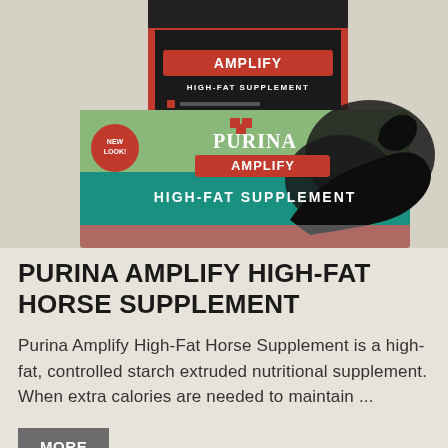[Figure (photo): Purina Amplify High-Fat Supplement product packaging — two bags of horse supplement shown, one upright black and red bag in the background and one teal/green and red bag in the foreground featuring a black horse running, the Purina logo, Amplify branding, and 'HIGH-FAT SUPPLEMENT' text]
PURINA AMPLIFY HIGH-FAT HORSE SUPPLEMENT
Purina Amplify High-Fat Horse Supplement is a high-fat, controlled starch extruded nutritional supplement. When extra calories are needed to maintain ...
MORE